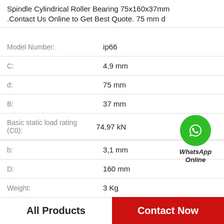Spindle Cylindrical Roller Bearing 75x160x37mm .Contact Us Online to Get Best Quote. 75 mm d
| Property | Value |
| --- | --- |
| Model Number: | ip66 |
| C: | 4,9 mm |
| d: | 75 mm |
| B: | 37 mm |
| Basic static load rating (C0): | 74,97 kN |
| b: | 3,1 mm |
| D: | 160 mm |
| Weight: | 3 Kg |
[Figure (logo): WhatsApp Online green phone icon widget with label 'WhatsApp Online']
All Products   Contact Now